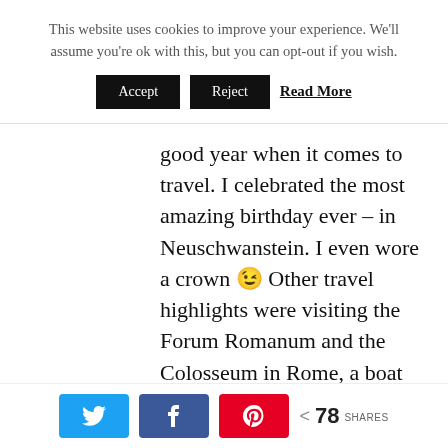This website uses cookies to improve your experience. We'll assume you're ok with this, but you can opt-out if you wish.
Accept | Reject | Read More
good year when it comes to travel. I celebrated the most amazing birthday ever – in Neuschwanstein. I even wore a crown 😉 Other travel highlights were visiting the Forum Romanum and the Colosseum in Rome, a boat trip in Rügen
< 78 SHARES